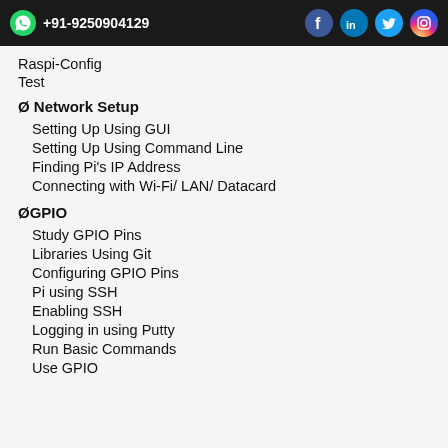+91-9250904129
Raspi-Config
Test
Ø Network Setup
Setting Up Using GUI
Setting Up Using Command Line
Finding Pi's IP Address
Connecting with Wi-Fi/ LAN/ Datacard
ØGPIO
Study GPIO Pins
Libraries Using Git
Configuring GPIO Pins
Pi using SSH
Enabling SSH
Logging in using Putty
Run Basic Commands
Use GPIO